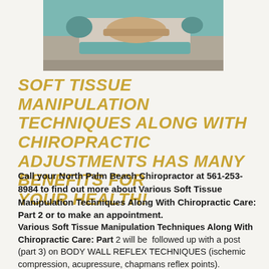[Figure (photo): A chiropractor performing soft tissue manipulation on a patient lying on a treatment table. Teal/green table visible, practitioner's hands on patient's back/shoulder area.]
Soft tissue manipulation techniques along with chiropractic adjustments has many benefits for your health!
Call your North Palm Beach Chiropractor at 561-253-8984 to find out more about Various Soft Tissue Manipulation Techniques Along With Chiropractic Care: Part 2 or to make an appointment.
Various Soft Tissue Manipulation Techniques Along With Chiropractic Care: Part 2 will be followed up with a post (part 3) on BODY WALL REFLEX TECHNIQUES (ischemic compression, acupressure, chapmans reflex points).